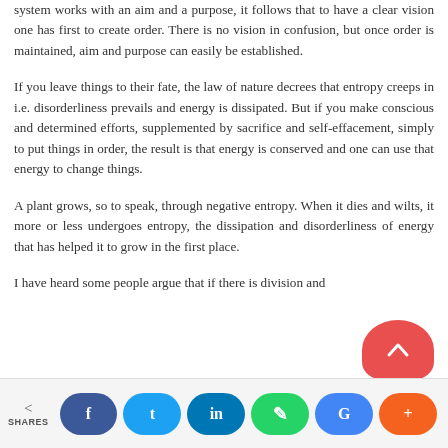system works with an aim and a purpose, it follows that to have a clear vision one has first to create order. There is no vision in confusion, but once order is maintained, aim and purpose can easily be established.
If you leave things to their fate, the law of nature decrees that entropy creeps in i.e. disorderliness prevails and energy is dissipated. But if you make conscious and determined efforts, supplemented by sacrifice and self-effacement, simply to put things in order, the result is that energy is conserved and one can use that energy to change things.
A plant grows, so to speak, through negative entropy. When it dies and wilts, it more or less undergoes entropy, the dissipation and disorderliness of energy that has helped it to grow in the first place.
I have heard some people argue that if there is division and
[Figure (infographic): Social sharing toolbar at the bottom of the page with share icon and SHARES label on the left, followed by social media buttons: Facebook (blue), Twitter (light blue), LinkedIn (dark blue), WhatsApp (green), Google (blue), and a plus/more button (orange). A red blob shape appears in the lower right corner.]